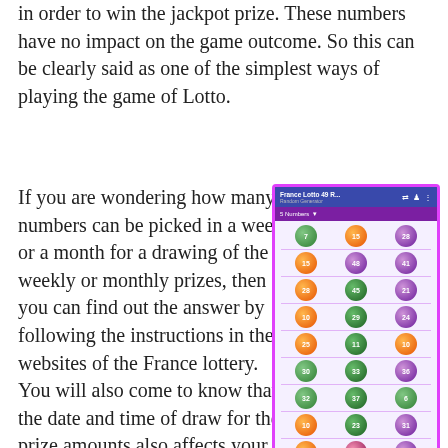in order to win the jackpot prize. These numbers have no impact on the game outcome. So this can be clearly said as one of the simplest ways of playing the game of Lotto.
If you are wondering how many numbers can be picked in a week or a month for a drawing of the weekly or monthly prizes, then you can find out the answer by following the instructions in the websites of the France lottery. You will also come to know that the date and time of draw for the prize amounts also affects your chances of winning. The complete list of the winning numbers for any particular game can be found out in the websites. You
[Figure (screenshot): Screenshot of France Lotto 49 Random Generator app showing a grid of numbered lottery balls in green, orange, purple, dark-green, pink and red colors arranged in rows of 3, with numbers like 7, 15, 28, 15, 48, 41, 28, 45, 21, 10, 29, 24, 25, 11, 10, 30, 33, 36, 32, 37, 6, 10, 23, 31, 33, 1, 41, 17, 2, 11, 11, 24, 9]